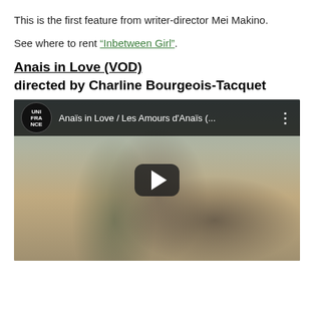This is the first feature from writer-director Mei Makino.
See where to rent “Inbetween Girl”.
Anais in Love (VOD)
directed by Charline Bourgeois-Tacquet
[Figure (screenshot): YouTube video thumbnail for 'Anaïs in Love / Les Amours d'Anaïs' from the Unifrance channel, showing a young woman with long dark hair and a green backpack in an urban setting, with a play button overlay and dark top bar showing channel logo and video title.]